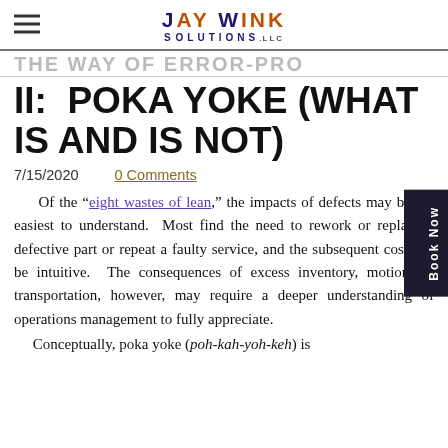JAY WINK SOLUTIONS, LLC
II: POKA YOKE (WHAT IS AND IS NOT)
7/15/2020   0 Comments
Of the “eight wastes of lean,” the impacts of defects may be the easiest to understand. Most find the need to rework or replace a defective part or repeat a faulty service, and the subsequent costs, to be intuitive. The consequences of excess inventory, motion, or transportation, however, may require a deeper understanding of operations management to fully appreciate.
Conceptually, poka yoke (poh-kah-yoh-keh) is